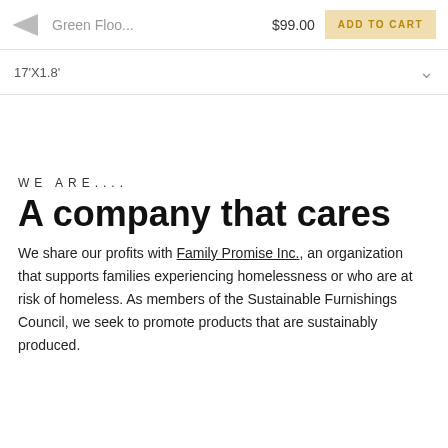[Figure (screenshot): E-commerce top bar showing a product icon, truncated product name 'Green Floo...', price '$99.00', and an 'ADD TO CART' button in tan/gold color]
17'X1.8'
WE ARE....
A company that cares
We share our profits with Family Promise Inc., an organization that supports families experiencing homelessness or who are at risk of homeless. As members of the Sustainable Furnishings Council, we seek to promote products that are sustainably produced.